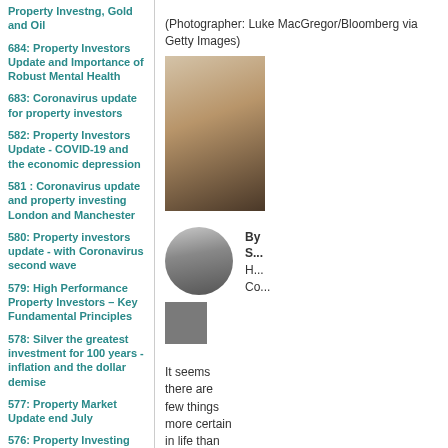Property Investng, Gold and Oil
684: Property Investors Update and Importance of Robust Mental Health
683: Coronavirus update for property investors
582: Property Investors Update - COVID-19 and the economic depression
581 : Coronavirus update and property investing London and Manchester
580: Property investors update - with Coronavirus second wave
579: High Performance Property Investors – Key Fundamental Principles
578: Silver the greatest investment for 100 years - inflation and the dollar demise
577: Property Market Update end July
576: Property Investing update UK post COVID-19 Lockdown
575: Importance of Vitamin D - Coronavirus
574: Longer Term Covid-19 behaviours and impact on property market
(Photographer: Luke MacGregor/Bloomberg via Getty Images)
[Figure (photo): Close-up photo of a woman with long brown hair]
[Figure (photo): Black and white circular portrait photo of a woman]
By S... H... Co...
[Figure (other): Grey social media or share icon button]
It seems there are few things more certain in life than